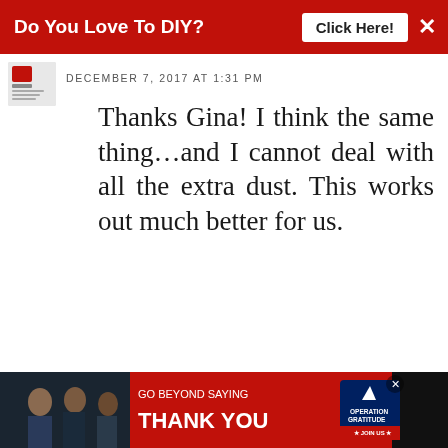Do You Love To DIY? Click Here!
DECEMBER 7, 2017 AT 1:31 PM
Thanks Gina! I think the same thing…and I cannot deal with all the extra dust. This works out much better for us.
DELETE
REPLY
Lowcarb team member
NOVEMBER 29, 2017 AT 1:16 PM
WHAT'S NEXT → Christmas Home Decor...
[Figure (photo): Advertisement banner: Go Beyond Saying Thank You - Operation Gratitude Join Us]